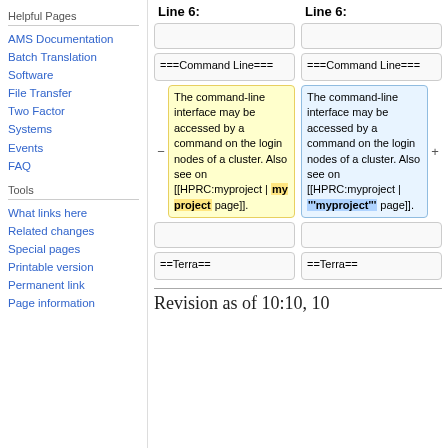Helpful Pages
AMS Documentation
Batch Translation
Software
File Transfer
Two Factor
Systems
Events
FAQ
Tools
What links here
Related changes
Special pages
Printable version
Permanent link
Page information
| Line 6: | Line 6: |
| --- | --- |
|  |  |
| ===Command Line=== | ===Command Line=== |
| The command-line interface may be accessed by a command on the login nodes of a cluster. Also see on [[HPRC:myproject | my project page]]. | The command-line interface may be accessed by a command on the login nodes of a cluster. Also see on [[HPRC:myproject | '''myproject''' page]]. |
|  |  |
| ==Terra== | ==Terra== |
Revision as of 10:10, 10